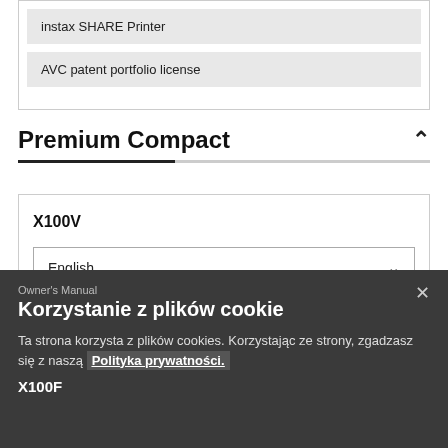instax SHARE Printer
AVC patent portfolio license
Premium Compact
X100V
English
Owner's Manual
Korzystanie z plików cookie
Ta strona korzysta z plików cookies. Korzystając ze strony, zgadzasz się z naszą Polityka prywatności.
X100F